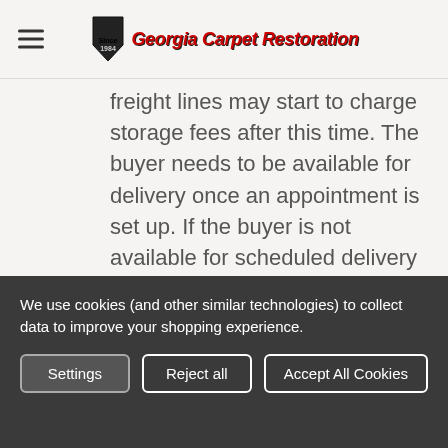Georgia Carpet Restoration
freight lines may start to charge storage fees after this time.  The buyer needs to be available for delivery once an appointment is set up.  If the buyer is not available for scheduled delivery or the buyer refuses a delivery for any reason, freight companies charge for re-delivery (or product can be picked up from their terminal for no additional fee).  Also unlike regular shipping companies, unpicked or refused shipment returns are not free with
We use cookies (and other similar technologies) to collect data to improve your shopping experience.
Settings | Reject all | Accept All Cookies